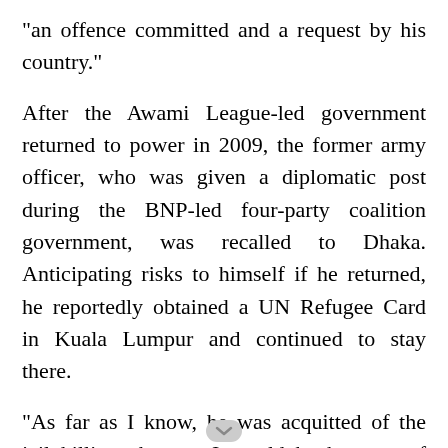"an offence committed and a request by his country."
After the Awami League-led government returned to power in 2009, the former army officer, who was given a diplomatic post during the BNP-led four-party coalition government, was recalled to Dhaka. Anticipating risks to himself if he returned, he reportedly obtained a UN Refugee Card in Kuala Lumpur and continued to stay there.
"As far as I know, he was acquitted of the jail killing charges. It could be because of the weakness of the investigation, it could be something else. It is under the jurisdiction of the court and so a matter for the judiciary, and as such I do not want to comment on it," he added.